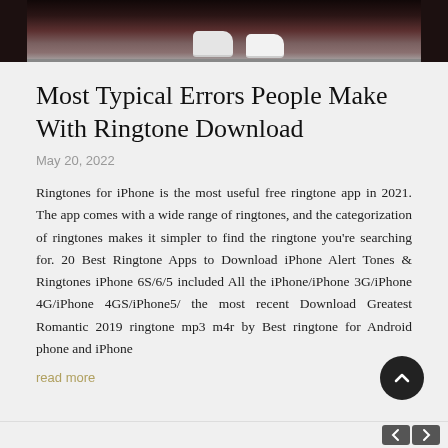[Figure (photo): Cropped photo showing feet/shoes of a performer on a dark stage floor]
Most Typical Errors People Make With Ringtone Download
May 20, 2022
Ringtones for iPhone is the most useful free ringtone app in 2021. The app comes with a wide range of ringtones, and the categorization of ringtones makes it simpler to find the ringtone you're searching for. 20 Best Ringtone Apps to Download iPhone Alert Tones & Ringtones iPhone 6S/6/5 included All the iPhone/iPhone 3G/iPhone 4G/iPhone 4GS/iPhone5/ the most recent Download Greatest Romantic 2019 ringtone mp3 m4r by Best ringtone for Android phone and iPhone
read more